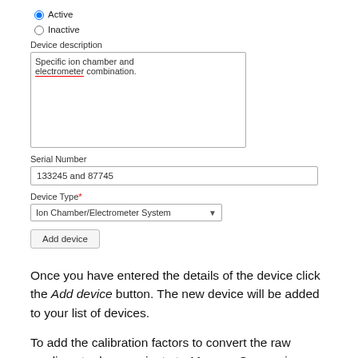Active
Inactive
Device description
Specific ion chamber and electrometer combination.
Serial Number
133245 and 87745
Device Type *
Ion Chamber/Electrometer System
Add device
Once you have entered the details of the device click the Add device button. The new device will be added to your list of devices.
To add the calibration factors to convert the raw readings to dose navigate to Manage Conversion Factors. Click the Calibration button for the device for which you want to add new factors. Click the +Add Machine Calibration button to